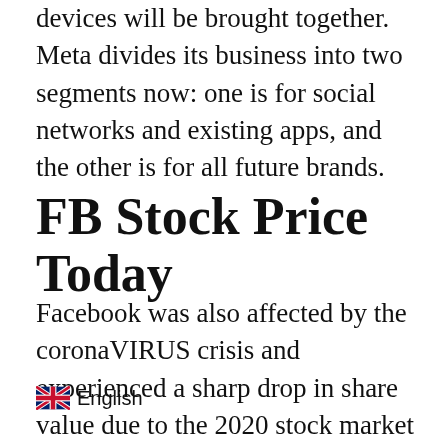devices will be brought together. Meta divides its business into two segments now: one is for social networks and existing apps, and the other is for all future brands.
FB Stock Price Today
Facebook was also affected by the coronaVIRUS crisis and experienced a sharp drop in share value due to the 2020 stock market crash. The crash, which is also referred to as the Coronavirus Crash and the
[Figure (other): UK flag language selector badge showing English]